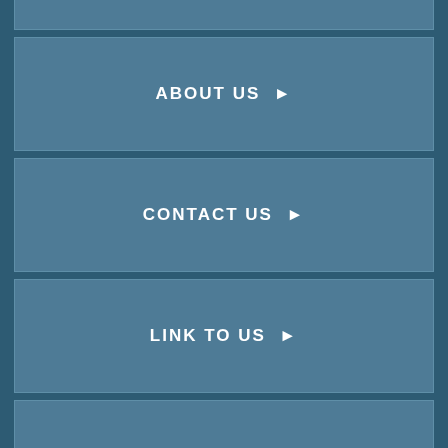ABOUT US ▶
CONTACT US ▶
LINK TO US ▶
MEDIA ROOM ▶
PRIVACY POLICY ▶
SITEMAP ▶
FAQS ▶